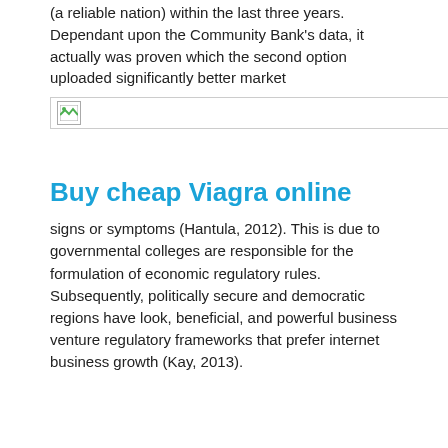(a reliable nation) within the last three years. Dependant upon the Community Bank's data, it actually was proven which the second option uploaded significantly better market
[Figure (other): Broken/placeholder image icon inside a bordered rectangle]
Buy cheap Viagra online
signs or symptoms (Hantula, 2012). This is due to governmental colleges are responsible for the formulation of economic regulatory rules. Subsequently, politically secure and democratic regions have look, beneficial, and powerful business venture regulatory frameworks that prefer internet business growth (Kay, 2013).